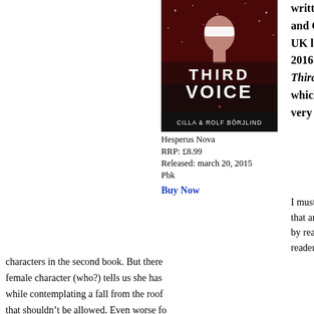[Figure (photo): Book cover of 'Third Voice' by Cilla & Rolf Börjlind. Shows a woman with a white blindfold against a dark red background with snow. Published by Hesperus Nova.]
Hesperus Nova
RRP: £8.99
Released: march 20, 2015
Pbk
Buy Now
written a go
and Cinema
UK last year
2016. With a
Third Voice o
which seems
very few cop
I must stress
that anyone o
by reading Sp
reader is prep
characters in the second book. But there
female character (who?) tells us she has
while contemplating a fall from the roof
that shouldn't be allowed. Even worse fo
book as a whole, which was quite unnec
that it offers a really engrossing and eng
Once the dots link the featured individua